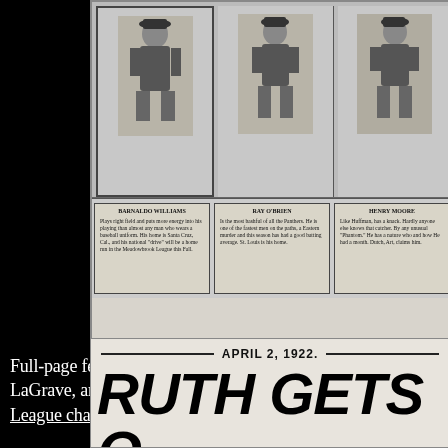[Figure (photo): Full-page newspaper feature showing three baseball player illustrations/photos with caption boxes below each. Players shown in uniform poses. Caption boxes beneath each player contain player names and descriptions. Players identified as Barnaldo Williams, Ray O'Brien, and Henry Moore.]
Full-page feature on the Panthers in 1920 included pl... LaGrave, and manager Jake Atz. That year the Panthe... League championship but also the first Dixie Series.
[Figure (photo): Newspaper clipping from April 2, 1922, showing large bold headline text 'RUTH GETS O...' (partially visible)]